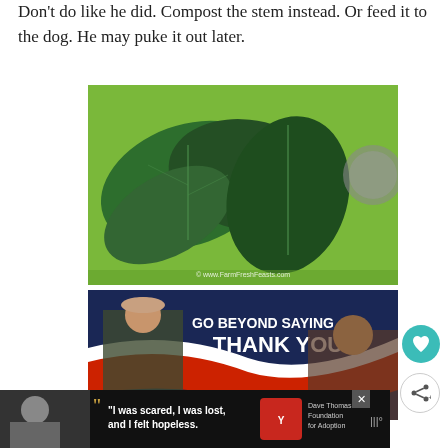Don't do like he did. Compost the stem instead. Or feed it to the dog. He may puke it out later.
[Figure (photo): Dark leafy greens (kale leaves) on a green cutting board, watermark: www.FarmFreshFeasts.com]
[Figure (photo): Advertisement banner: GO BEYOND SAYING THANK YOU - shows two people, military themed with red white blue design]
[Figure (photo): Bottom advertisement bar: black background with a woman and quote 'I was scared, I was lost, and I felt hopeless.' with Dave Thomas Foundation for Adoption logo]